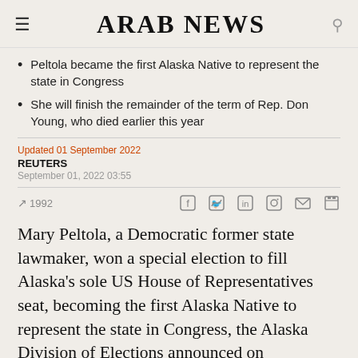ARAB NEWS
Peltola became the first Alaska Native to represent the state in Congress
She will finish the remainder of the term of Rep. Don Young, who died earlier this year
Updated 01 September 2022
REUTERS
September 01, 2022 03:55
1992
Mary Peltola, a Democratic former state lawmaker, won a special election to fill Alaska's sole US House of Representatives seat, becoming the first Alaska Native to represent the state in Congress, the Alaska Division of Elections announced on Wednesday.